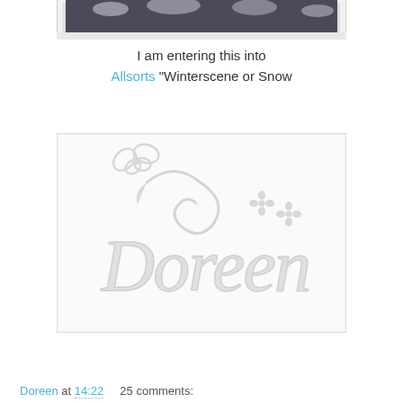[Figure (photo): Top portion of a framed winter scene photograph, partially cropped, showing snowy trees in black and white]
I am entering this into Allsorts "Winterscene or Snow
[Figure (photo): White chipboard or paper craft embellishment spelling out 'Doreen' in cursive script, with a butterfly and swirls above and small flower details to the right, on a white background]
Doreen at 14:22    25 comments: